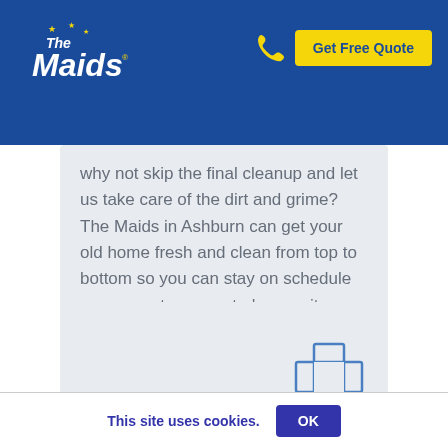[Figure (logo): The Maids logo in white italic text on blue background with yellow stars]
Get Free Quote
why not skip the final cleanup and let us take care of the dirt and grime? The Maids in Ashburn can get your old home fresh and clean from top to bottom so you can stay on schedule or even get your renter's security deposit back.
[Figure (illustration): Blue outlined medical cross / plus icon on light gray background]
This site uses cookies.